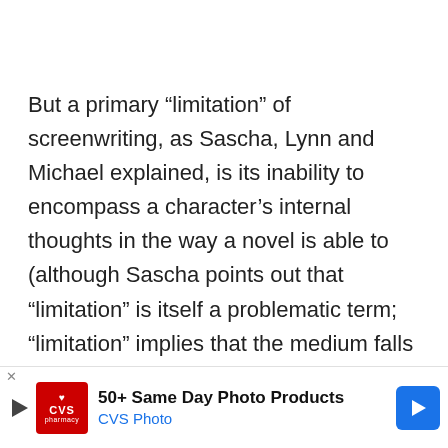But a primary “limitation” of screenwriting, as Sascha, Lynn and Michael explained, is its inability to encompass a character’s internal thoughts in the way a novel is able to (although Sascha points out that “limitation” is itself a problematic term; “limitation” implies that the medium falls short in some respect when it is simply providing you with a new field within which to operate, in other words, screenwriting is not a “smaller room”, but a different one altogether). For instance, the strong internal world that Michael was a… h’s advo… ly
[Figure (other): CVS Photo advertisement banner: '50+ Same Day Photo Products, CVS Photo' with CVS pharmacy logo and blue arrow button]